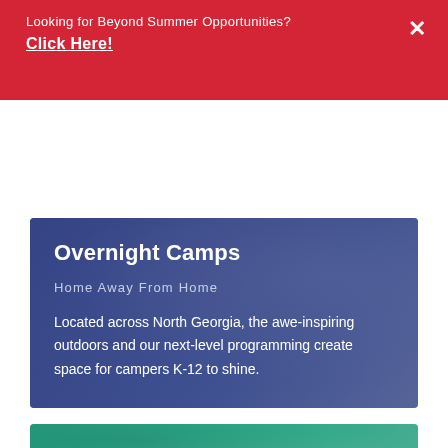Looking for Beyond Summer Opportunities?
Click Here!
Overnight Camps
Home Away From Home
Located across North Georgia, the awe-inspiring outdoors and our next-level programming create space for campers K-12 to shine.
[Figure (photo): Two smiling teenage girls with a blue-purple color overlay, representing overnight camp participants]
[Figure (photo): People raising hands or objects outdoors with a teal/green color overlay, partially visible at the bottom of the page]